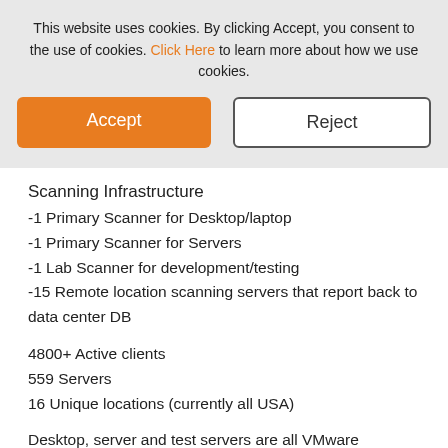This website uses cookies. By clicking Accept, you consent to the use of cookies. Click Here to learn more about how we use cookies.
[Figure (screenshot): Cookie consent banner with Accept (orange) and Reject (white with border) buttons]
Scanning Infrastructure
-1 Primary Scanner for Desktop/laptop
-1 Primary Scanner for Servers
-1 Lab Scanner for development/testing
-15 Remote location scanning servers that report back to data center DB
4800+ Active clients
559 Servers
16 Unique locations (currently all USA)
Desktop, server and test servers are all VMware
Branch location scanning servers are all running on appliance